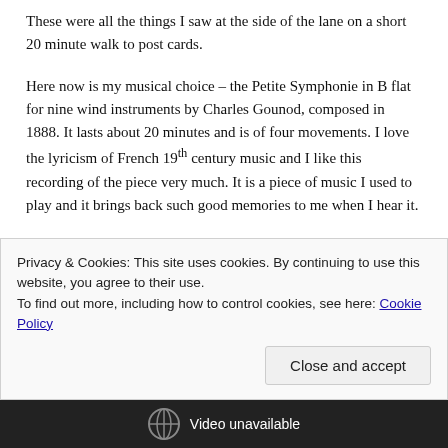These were all the things I saw at the side of the lane on a short 20 minute walk to post cards.
Here now is my musical choice – the Petite Symphonie in B flat for nine wind instruments by Charles Gounod, composed in 1888.  It lasts about 20 minutes and is of four movements.  I love the lyricism of French 19th century music and I like this recording of the piece very much.  It is a piece of music I used to play and it brings back such good memories to me when I hear it.
Privacy & Cookies: This site uses cookies. By continuing to use this website, you agree to their use.
To find out more, including how to control cookies, see here: Cookie Policy
Close and accept
Video unavailable